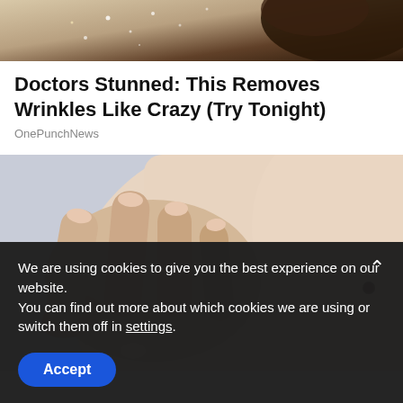[Figure (photo): Partial top photo showing a person's face/hair with glitter or sparkle effect, cropped at top]
Doctors Stunned: This Removes Wrinkles Like Crazy (Try Tonight)
OnePunchNews
[Figure (photo): Close-up photo of a hand touching skin on a person's body, showing a small mole/skin blemish, on a light purple-tinted background]
We are using cookies to give you the best experience on our website.
You can find out more about which cookies we are using or switch them off in settings.
Accept